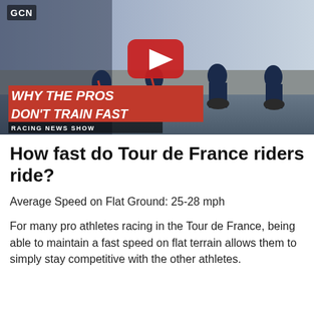[Figure (screenshot): GCN YouTube video thumbnail showing professional cyclists riding in a group. Red YouTube play button in center. Red banner text reads 'WHY THE PROS DON'T TRAIN FAST' with subtitle 'RACING NEWS SHOW'. GCN logo in top left corner.]
How fast do Tour de France riders ride?
Average Speed on Flat Ground: 25-28 mph
For many pro athletes racing in the Tour de France, being able to maintain a fast speed on flat terrain allows them to simply stay competitive with the other athletes.